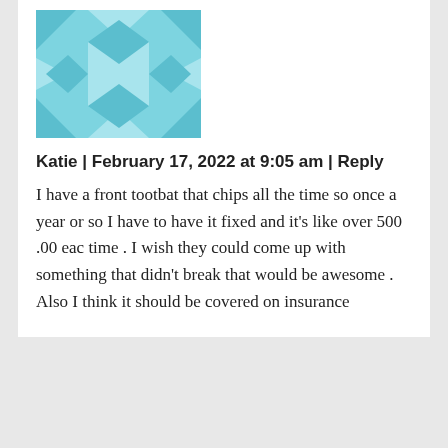[Figure (illustration): Blue geometric quilt-pattern avatar icon for user Katie]
Katie | February 17, 2022 at 9:05 am | Reply
I have a front tootbat that chips all the time so once a year or so I have to have it fixed and it's like over 500 .00 eac time . I wish they could come up with something that didn't break that would be awesome . Also I think it should be covered on insurance
[Figure (illustration): Pink geometric quilt-pattern avatar icon for user Max Power]
Max Power | February 17, 2022 at 12:43 pm |